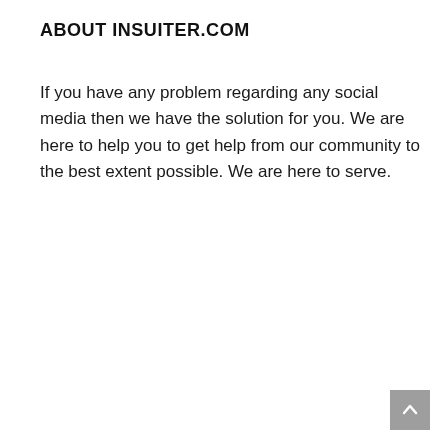ABOUT INSUITER.COM
If you have any problem regarding any social media then we have the solution for you. We are here to help you to get help from our community to the best extent possible. We are here to serve.